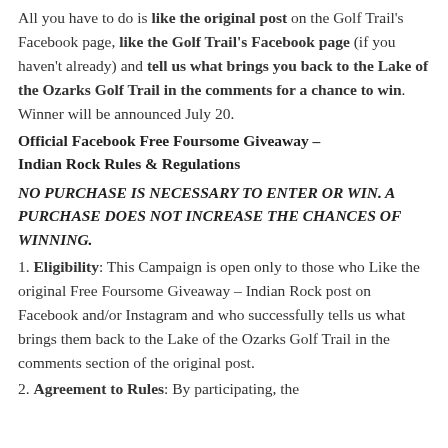All you have to do is like the original post on the Golf Trail's Facebook page, like the Golf Trail's Facebook page (if you haven't already) and tell us what brings you back to the Lake of the Ozarks Golf Trail in the comments for a chance to win. Winner will be announced July 20.
Official Facebook Free Foursome Giveaway – Indian Rock Rules & Regulations
NO PURCHASE IS NECESSARY TO ENTER OR WIN. A PURCHASE DOES NOT INCREASE THE CHANCES OF WINNING.
1. Eligibility: This Campaign is open only to those who Like the original Free Foursome Giveaway – Indian Rock post on Facebook and/or Instagram and who successfully tells us what brings them back to the Lake of the Ozarks Golf Trail in the comments section of the original post.
2. Agreement to Rules: By participating, the